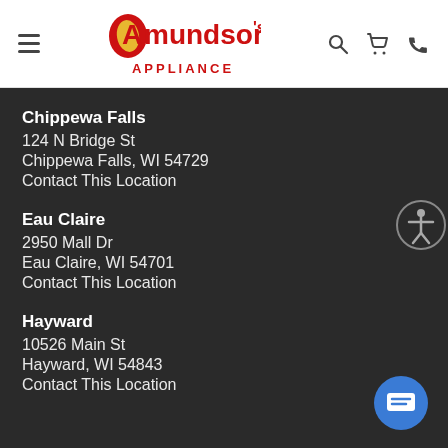Amundson's Appliance — navigation header with hamburger menu, logo, search, cart, and phone icons
Chippewa Falls
124 N Bridge St
Chippewa Falls, WI 54729
Contact This Location
Eau Claire
2950 Mall Dr
Eau Claire, WI 54701
Contact This Location
Hayward
10526 Main St
Hayward, WI 54843
Contact This Location